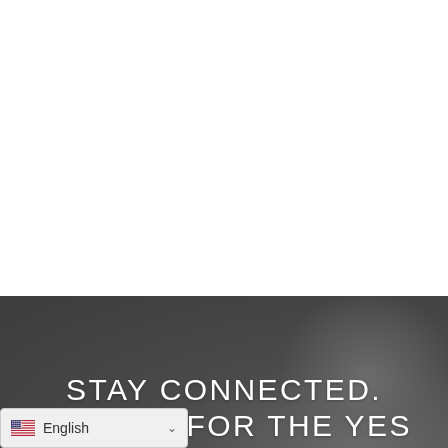[Figure (photo): White blank upper section of a webpage]
STAY CONNECTED. SIGN UP FOR THE YES
[Figure (screenshot): Language selector widget showing English with US flag and dropdown chevron]